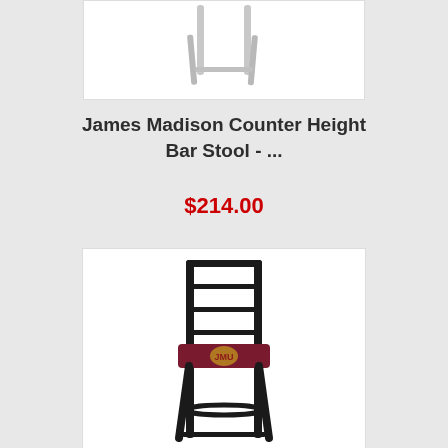[Figure (photo): Partial view of white bar stool legs at top of page]
James Madison Counter Height Bar Stool - ...
$214.00
[Figure (photo): Black metal bar stool with ladder back and maroon upholstered seat featuring James Madison Dukes mascot logo]